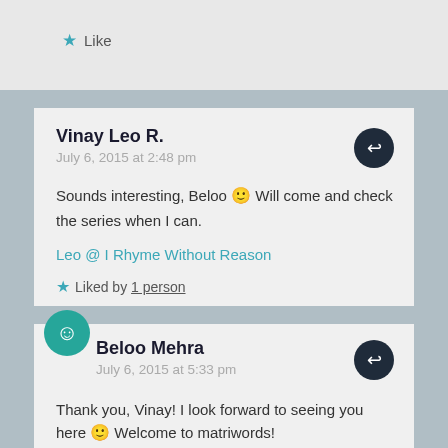★ Like
Vinay Leo R.
July 6, 2015 at 2:48 pm
Sounds interesting, Beloo 🙂 Will come and check the series when I can.
Leo @ I Rhyme Without Reason
★ Liked by 1 person
Beloo Mehra
July 6, 2015 at 5:33 pm
Thank you, Vinay! I look forward to seeing you here 🙂 Welcome to matriwords!